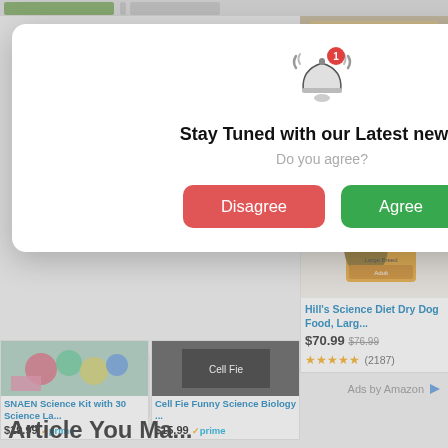[Figure (screenshot): Browser notification permission modal popup with bell icon, 'Stay Tuned with our Latest news:' title, 'Do you agree?' subtitle, and Disagree/Agree buttons]
[Figure (photo): Mark Twain General Science Activity Book product image]
Mark Twain General Science Activity B...
$11.29 ✓prime
★★★★☆ (625)
[Figure (photo): Hill's Science Diet dog food bag product image with German Shepherd]
Hill's Science Diet Dry Dog Food, Larg...
$70.99  $76.99
★★★★★ (2187)
[Figure (photo): SNAEN Science Kit product image]
SNAEN Science Kit with 30 Science La...
$19.99 ✓prime
★★★★☆ (5251)
[Figure (photo): Cell Fie Funny Science Biology product image]
Cell Fie Funny Science Biology ...
$15.99 ✓prime
★★★★★ (223)
Ads by Amazon
Article You May Li...